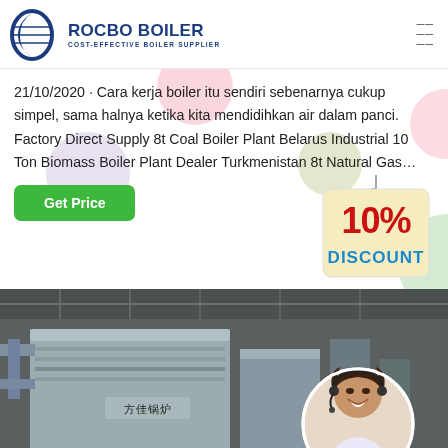ROCBO BOILER - COST-EFFECTIVE BOILER SUPPLIER
21/10/2020 · Cara kerja boiler itu sendiri sebenarnya cukup simpel, sama halnya ketika kita mendidihkan air dalam panci. Factory Direct Supply 8t Coal Boiler Plant Belarus Industrial 10 Ton Biomass Boiler Plant Dealer Turkmenistan 8t Natural Gas…
[Figure (illustration): Green 'Get Price' button and 10% Discount badge (cream colored tag with red and blue text)]
[Figure (photo): Industrial boiler plant interior photo with metallic boiler equipment and Chinese characters on unit, overlaid with circular inset of smiling female customer service representative wearing a headset]